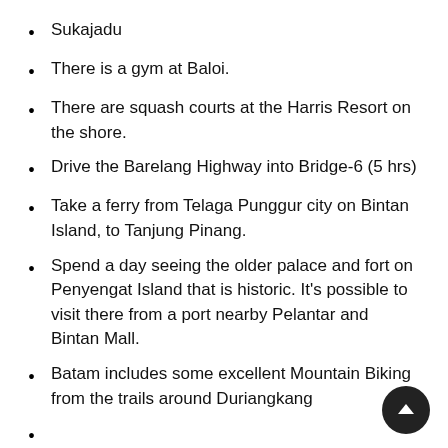Sukajadu
There is a gym at Baloi.
There are squash courts at the Harris Resort on the shore.
Drive the Barelang Highway into Bridge-6 (5 hrs)
Take a ferry from Telaga Punggur city on Bintan Island, to Tanjung Pinang.
Spend a day seeing the older palace and fort on Penyengat Island that is historic. It’s possible to visit there from a port nearby Pelantar and Bintan Mall.
Batam includes some excellent Mountain Biking from the trails around Duriangkang